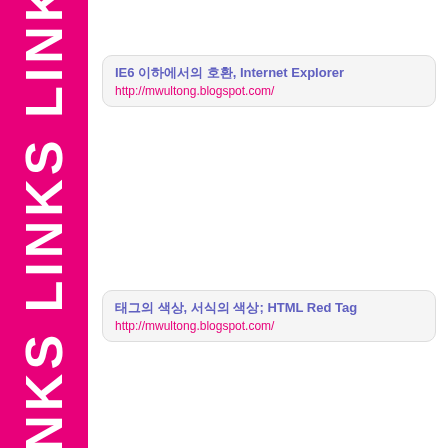[Figure (other): Hot pink vertical sidebar banner with repeated text 'LINKS' rotated vertically in white bold letters]
IE6 이하에서의 호환, Internet Explorer
http://mwultong.blogspot.com/
태그의 색상, 서식의 색상; HTML Red Tag
http://mwultong.blogspot.com/
HTML 태그의 동시에; 사이트에 넣기, 팁들이 됩니다
http://mwultong.blogspot.com/
HTML에서 m2 사이트에 이동 사이트, 팁들이 됩니다
http://mwultong.blogspot.com/
파일 이름 없이 이름이랑; HTML, HTM 이름이랑
http://mwultong.blogspot.com/